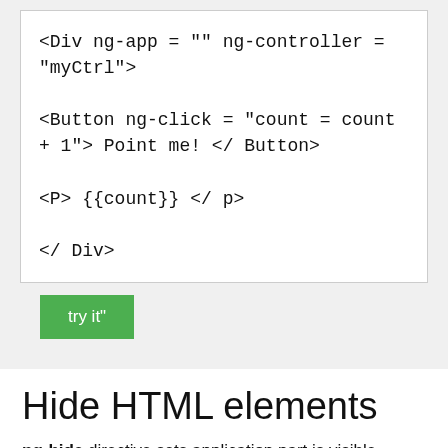[Figure (screenshot): Code block showing AngularJS HTML snippet with ng-app, ng-controller, ng-click, and ng-bind directives, with a green 'try it' button below]
Hide HTML elements
ng-hide directive sets application part is visible.
ng-hide = "true" Setting HTML elements are not visible.
ng-hide = "false" Setting HTML element is visible.